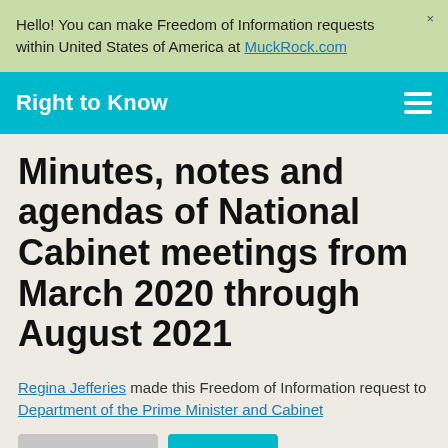Hello! You can make Freedom of Information requests within United States of America at MuckRock.com
Right to Know
Minutes, notes and agendas of National Cabinet meetings from March 2020 through August 2021
Regina Jefferies made this Freedom of Information request to Department of the Prime Minister and Cabinet